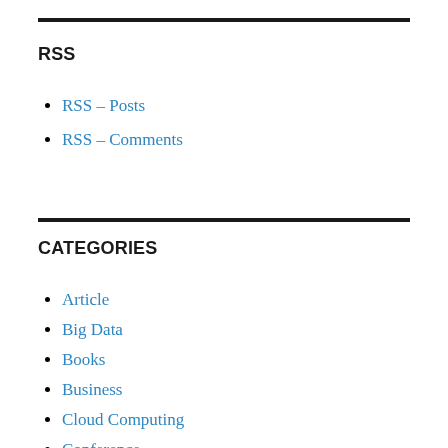RSS
RSS – Posts
RSS – Comments
CATEGORIES
Article
Big Data
Books
Business
Cloud Computing
Conference